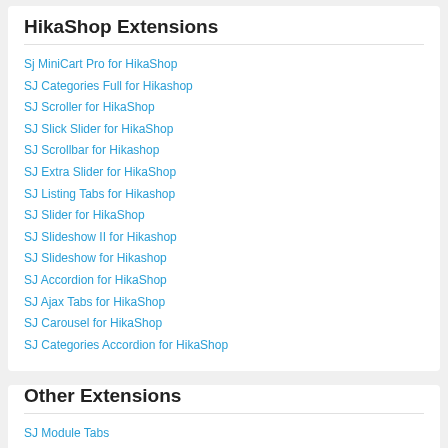HikaShop Extensions
Sj MiniCart Pro for HikaShop
SJ Categories Full for Hikashop
SJ Scroller for HikaShop
SJ Slick Slider for HikaShop
SJ Scrollbar for Hikashop
SJ Extra Slider for HikaShop
SJ Listing Tabs for Hikashop
SJ Slider for HikaShop
SJ Slideshow II for Hikashop
SJ Slideshow for Hikashop
SJ Accordion for HikaShop
SJ Ajax Tabs for HikaShop
SJ Carousel for HikaShop
SJ Categories Accordion for HikaShop
Other Extensions
SJ Module Tabs
Sj Gallery Pro
SJ Ads Slideshow for AdsManager
SJ Extra Slider for AdsManager